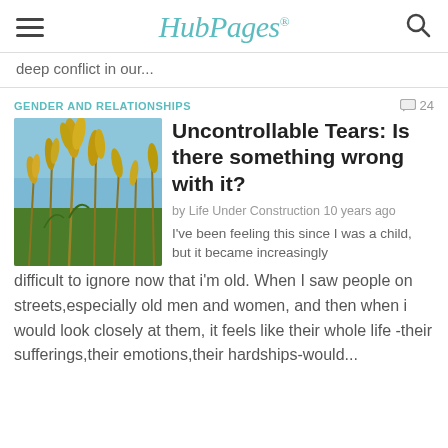HubPages
deep conflict in our...
[Figure (photo): Close-up photo of golden wheat/grain stalks against a blue sky]
GENDER AND RELATIONSHIPS
Uncontrollable Tears: Is there something wrong with it?
by Life Under Construction 10 years ago
I've been feeling this since I was a child, but it became increasingly difficult to ignore now that i'm old. When I saw people on streets,especially old men and women, and then when i would look closely at them, it feels like their whole life -their sufferings,their emotions,their hardships-would...